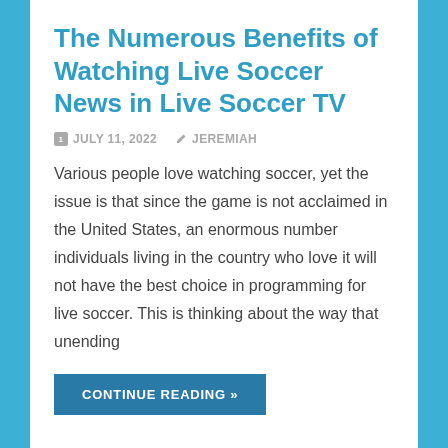The Numerous Benefits of Watching Live Soccer News in Live Soccer TV
JULY 11, 2022   JEREMIAH
Various people love watching soccer, yet the issue is that since the game is not acclaimed in the United States, an enormous number individuals living in the country who love it will not have the best choice in programming for live soccer. This is thinking about the way that unending
CONTINUE READING »